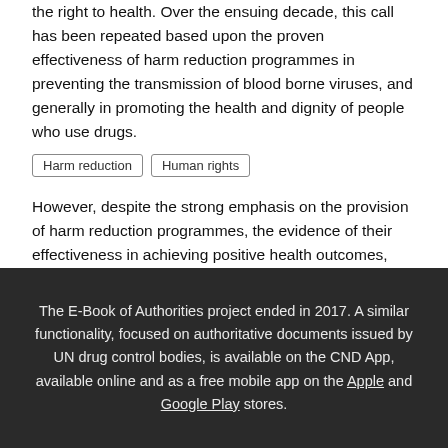reduction programmes as part of State obligations under the right to health. Over the ensuing decade, this call has been repeated based upon the proven effectiveness of harm reduction programmes in preventing the transmission of blood borne viruses, and generally in promoting the health and dignity of people who use drugs.
Harm reduction
Human rights
However, despite the strong emphasis on the provision of harm reduction programmes, the evidence of their effectiveness in achieving positive health outcomes, and the increasing number of Members States implementing a harm reduction response, the issue continues to be unproductively politicized within UN drug control
The E-Book of Authorities project ended in 2017. A similar functionality, focused on authoritative documents issued by UN drug control bodies, is available on the CND App, available online and as a free mobile app on the Apple and Google Play stores.